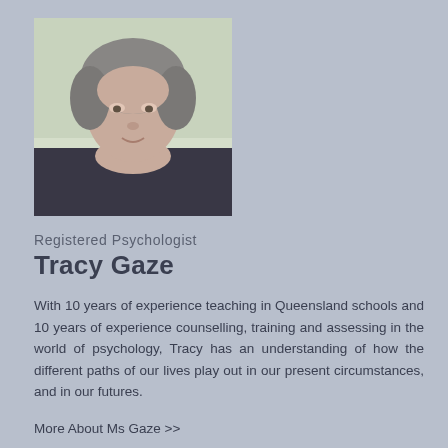[Figure (photo): Portrait photo of a woman with short grey hair, slightly blurred, against a light indoor background]
Registered Psychologist
Tracy Gaze
With 10 years of experience teaching in Queensland schools and 10 years of experience counselling, training and assessing in the world of psychology, Tracy has an understanding of how the different paths of our lives play out in our present circumstances, and in our futures.
More About Ms Gaze >>